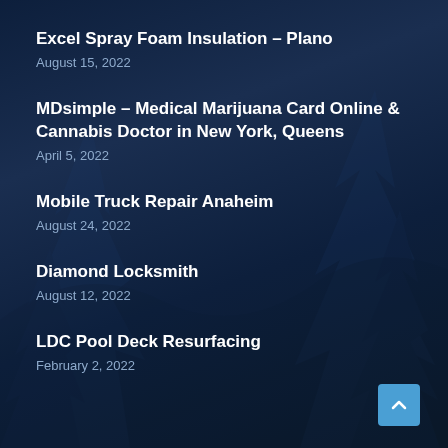Excel Spray Foam Insulation – Plano
August 15, 2022
MDsimple – Medical Marijuana Card Online & Cannabis Doctor in New York, Queens
April 5, 2022
Mobile Truck Repair Anaheim
August 24, 2022
Diamond Locksmith
August 12, 2022
LDC Pool Deck Resurfacing
February 2, 2022